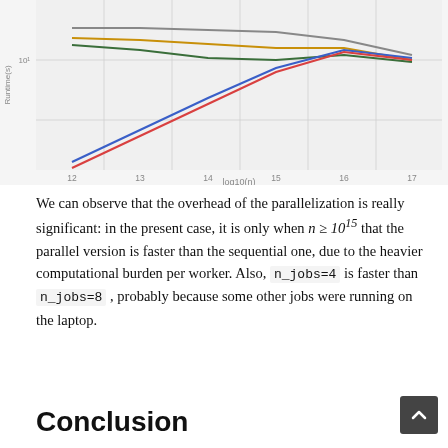[Figure (line-chart): Line chart showing runtime vs log10(n) for multiple configurations (sequential, n_jobs=1, n_jobs=2, n_jobs=4, n_jobs=8). The x-axis runs from 12 to 17. Several lines start spread apart at left and converge at upper right, with two lines (red and blue) showing steeper slopes from lower values.]
We can observe that the overhead of the parallelization is really significant: in the present case, it is only when n >= 10^15 that the parallel version is faster than the sequential one, due to the heavier computational burden per worker. Also, n_jobs=4 is faster than n_jobs=8 , probably because some other jobs were running on the laptop.
Conclusion